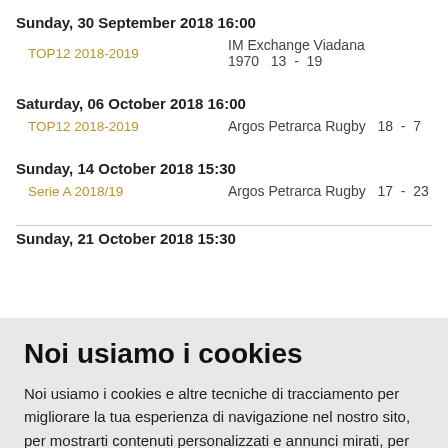Sunday, 30 September 2018 16:00
TOP12 2018-2019   IM Exchange Viadana 1970  13  -  19
Saturday, 06 October 2018 16:00
TOP12 2018-2019   Argos Petrarca Rugby  18  -  7
Sunday, 14 October 2018 15:30
Serie A 2018/19   Argos Petrarca Rugby  17  -  23
Sunday, 21 October 2018 15:30
Noi usiamo i cookies
Noi usiamo i cookies e altre tecniche di tracciamento per migliorare la tua esperienza di navigazione nel nostro sito, per mostrarti contenuti personalizzati e annunci mirati, per